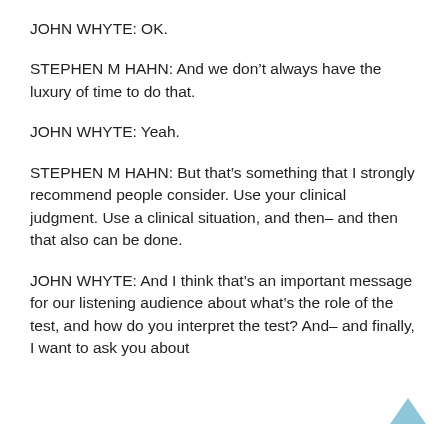JOHN WHYTE: OK.
STEPHEN M HAHN: And we don’t always have the luxury of time to do that.
JOHN WHYTE: Yeah.
STEPHEN M HAHN: But that’s something that I strongly recommend people consider. Use your clinical judgment. Use a clinical situation, and then– and then that also can be done.
JOHN WHYTE: And I think that’s an important message for our listening audience about what’s the role of the test, and how do you interpret the test? And– and finally, I want to ask you about